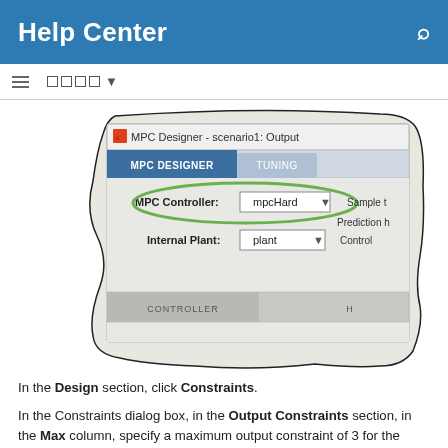Help Center
[Figure (screenshot): MPC Designer - scenario1: Output window showing MPC DESIGNER and TUNING tabs, with MPC Controller dropdown set to mpcHard and Internal Plant dropdown set to plant. A green oval highlights the MPC Controller field.]
In the Design section, click Constraints.
In the Constraints dialog box, in the Output Constraints section, in the Max column, specify a maximum output constraint of 3 for the unmeasured output (UO).
By default, all output constraints are soft, that is the controller can allow violations of the constraint when computing optimal control moves.